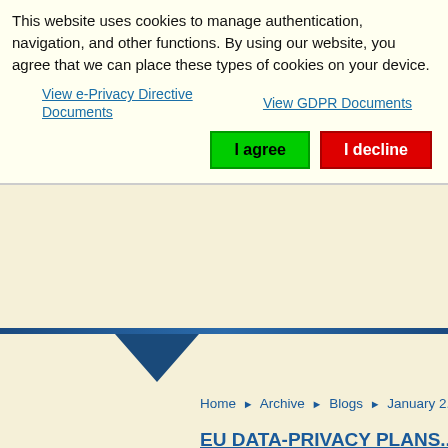This website uses cookies to manage authentication, navigation, and other functions. By using our website, you agree that we can place these types of cookies on your device.
View e-Privacy Directive Documents   View GDPR Documents
I agree   I decline
Home ▶ Archive ▶ Blogs ▶ January 2...
EU DATA-PRIVACY PLANS... U.S. COMPANIES (1/25)
By Zachary Laven --- European Affairs...
The European Commission's proposals... unveiled Wednesday as a modernizing... complex new legal and technical envir...
In presenting the plan, Justice Comm... citizens easier access to their persona... proposals will impose a single set of p... divergent national rules.